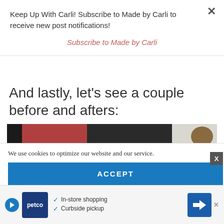Keep Up With Carli! Subscribe to Made by Carli to receive new post notifications!
Subscribe to Made by Carli
And lastly, let's see a couple before and afters:
[Figure (photo): Before and after photo of a wooden fence painted dark/black color]
We use cookies to optimize our website and our service.
ACCEPT
[Figure (infographic): Petco advertisement banner with In-store shopping and Curbside pickup options and a directions icon]